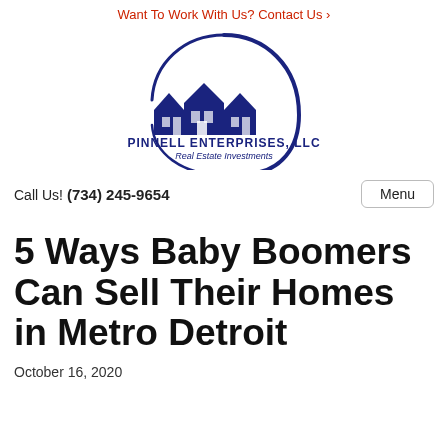Want To Work With Us? Contact Us ›
[Figure (logo): Pinnell Enterprises, LLC Real Estate Investments logo — dark blue houses silhouette with a circular swoosh, company name below]
Call Us! (734) 245-9654
Menu
5 Ways Baby Boomers Can Sell Their Homes in Metro Detroit
October 16, 2020